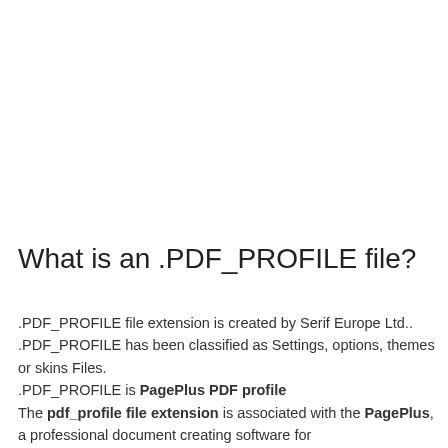What is an .PDF_PROFILE file?
.PDF_PROFILE file extension is created by Serif Europe Ltd.. .PDF_PROFILE has been classified as Settings, options, themes or skins Files.
.PDF_PROFILE is PagePlus PDF profile
The pdf_profile file extension is associated with the PagePlus, a professional document creating software for